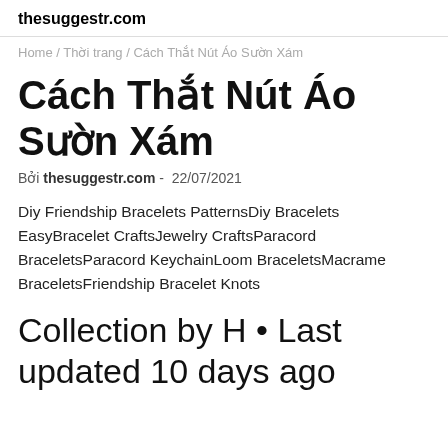thesuggestr.com
Home / Thời trang / Cách Thắt Nút Áo Sườn Xám
Cách Thắt Nút Áo Sườn Xám
Bởi thesuggestr.com - 22/07/2021
Diy Friendship Bracelets PatternsDiy Bracelets EasyBracelet CraftsJewelry CraftsParacord BraceletsParacord KeychainLoom BraceletsMacrame BraceletsFriendship Bracelet Knots
Collection by H • Last updated 10 days ago